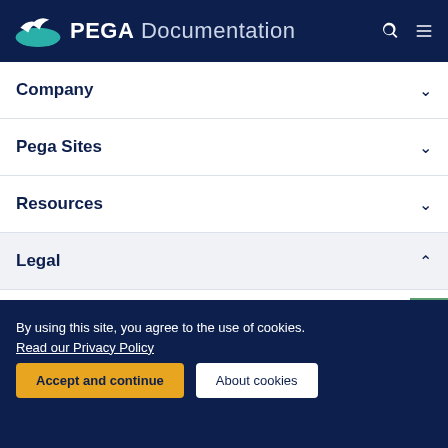PEGA Documentation
Company
Pega Sites
Resources
Legal
Terms of Use
Support
Glossary
READY TO CRUSH COMPLEXITY?
By using this site, you agree to the use of cookies. Read our Privacy Policy
Accept and continue
About cookies